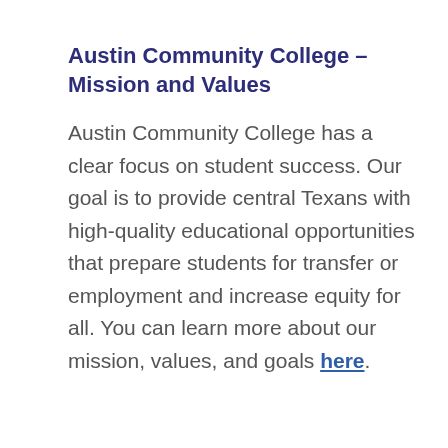Austin Community College – Mission and Values
Austin Community College has a clear focus on student success. Our goal is to provide central Texans with high-quality educational opportunities that prepare students for transfer or employment and increase equity for all. You can learn more about our mission, values, and goals here.